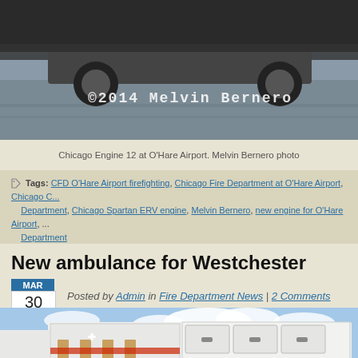[Figure (photo): Partial view of a fire truck at O'Hare Airport with '©2014 Melvin Bernero' watermark text overlaid on the image.]
Chicago Engine 12 at O'Hare Airport. Melvin Bernero photo
Tags: CFD O'Hare Airport firefighting, Chicago Fire Department at O'Hare Airport, Chicago C... Department, Chicago Spartan ERV engine, Melvin Bernero, new engine for O'Hare Airport, ... Department
New ambulance for Westchester
Posted by Admin in Fire Department News | 2 Comments — MAR 30
Fire Service, Inc. posted images of the new Freightliner/Wheeled Coach Type... Wheeled Coach for Westchester.
[Figure (photo): Rear view of a white ambulance (Freightliner/Wheeled Coach Type) parked outside against a blue sky with clouds.]